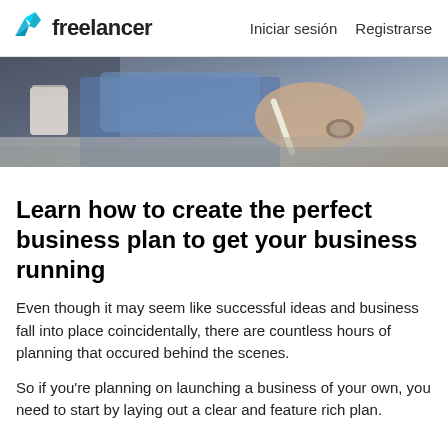freelancer   Iniciar sesión   Registrarse
[Figure (photo): Banner photo of a person in a blue shirt writing or working at a desk, holding a coffee cup, seen from above/side angle.]
Learn how to create the perfect business plan to get your business running
Even though it may seem like successful ideas and business fall into place coincidentally, there are countless hours of planning that occured behind the scenes.
So if you're planning on launching a business of your own, you need to start by laying out a clear and feature rich plan.